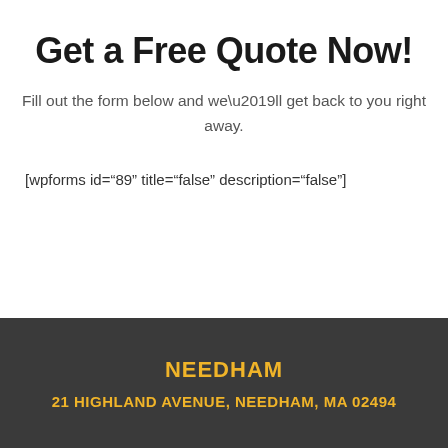Get a Free Quote Now!
Fill out the form below and we’ll get back to you right away.
[wpforms id="89" title="false" description="false"]
NEEDHAM
21 HIGHLAND AVENUE, NEEDHAM, MA 02494